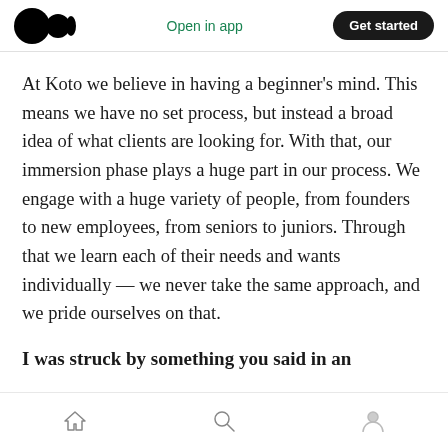Open in app  Get started
At Koto we believe in having a beginner's mind. This means we have no set process, but instead a broad idea of what clients are looking for. With that, our immersion phase plays a huge part in our process. We engage with a huge variety of people, from founders to new employees, from seniors to juniors. Through that we learn each of their needs and wants individually — we never take the same approach, and we pride ourselves on that.
I was struck by something you said in an
home  search  profile